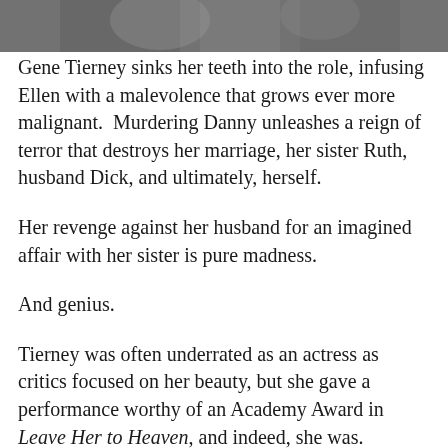[Figure (photo): Partial photograph visible at the top of the page, cropped — shows figures in a scene, appears to be a film still.]
Gene Tierney sinks her teeth into the role, infusing Ellen with a malevolence that grows ever more malignant.  Murdering Danny unleashes a reign of terror that destroys her marriage, her sister Ruth, husband Dick, and ultimately, herself.

Her revenge against her husband for an imagined affair with her sister is pure madness.

And genius.

Tierney was often underrated as an actress as critics focused on her beauty, but she gave a performance worthy of an Academy Award in Leave Her to Heaven, and indeed, she was.